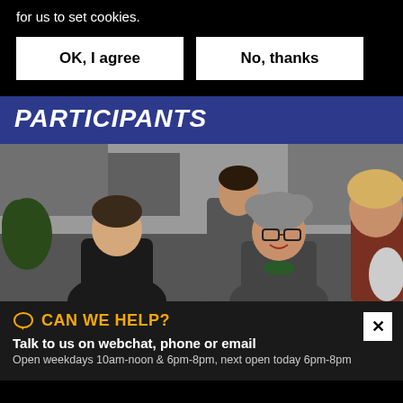for us to set cookies.
OK, I agree
No, thanks
PARTICIPANTS
[Figure (photo): Group of people sitting outdoors. A young man in a black jacket on the left, a middle-aged woman with short curly hair and glasses smiling in the center, and other people partially visible around them.]
CAN WE HELP?
Talk to us on webchat, phone or email
Open weekdays 10am-noon & 6pm-8pm, next open today 6pm-8pm